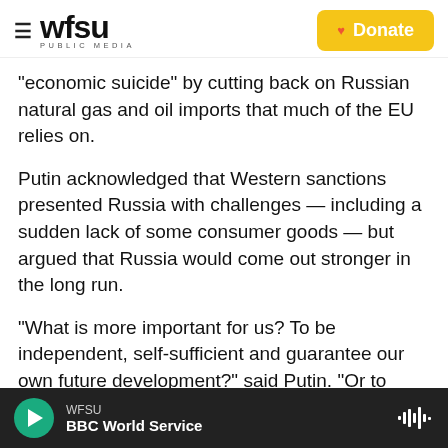WFSU PUBLIC MEDIA | Donate
"economic suicide" by cutting back on Russian natural gas and oil imports that much of the EU relies on.
Putin acknowledged that Western sanctions presented Russia with challenges — including a sudden lack of some consumer goods — but argued that Russia would come out stronger in the long run.
"What is more important for us? To be independent, self-sufficient and guarantee our own future development?" said Putin. "Or to have some
WFSU | BBC World Service